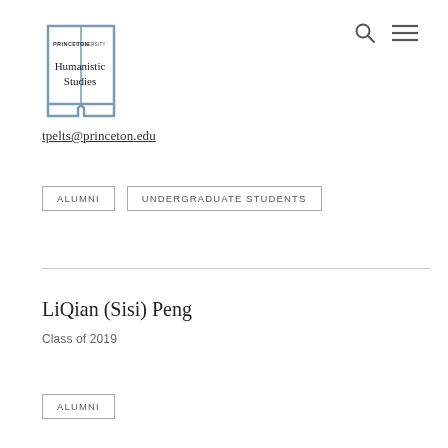[Figure (logo): Princeton University Humanistic Studies logo — open book outline in steel blue with text 'PRINCETON UNIVERSITY' in small caps and 'Humanistic Studies' in larger serif below]
[Figure (other): Search (magnifying glass) and hamburger menu icons in the top right corner]
tpelts@princeton.edu
ALUMNI
UNDERGRADUATE STUDENTS
LiQian (Sisi) Peng
Class of 2019
ALUMNI